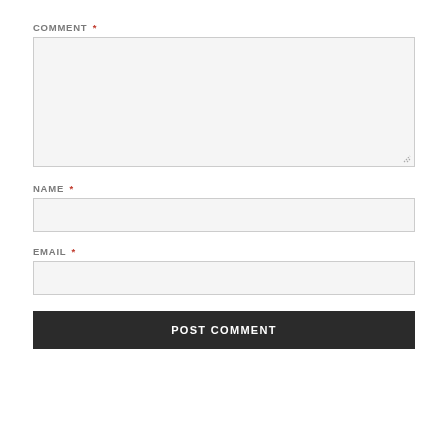COMMENT *
[Figure (screenshot): Empty textarea form field with light gray background and border]
NAME *
[Figure (screenshot): Empty single-line text input field with light gray background and border]
EMAIL *
[Figure (screenshot): Empty single-line email input field with light gray background and border]
POST COMMENT